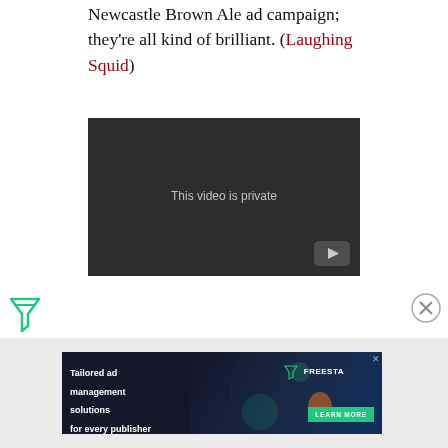Newcastle Brown Ale ad campaign; they’re all kind of brilliant. (Laughing Squid)
[Figure (screenshot): Embedded video player showing 'This video is private' message with YouTube logo button]
[Figure (logo): Freestar filter/funnel icon in green]
[Figure (other): Close (X) circle button]
[Figure (infographic): Advertisement banner: 'Tailored ad management solutions for every publisher' with FREESTAR branding and LEARN MORE button]